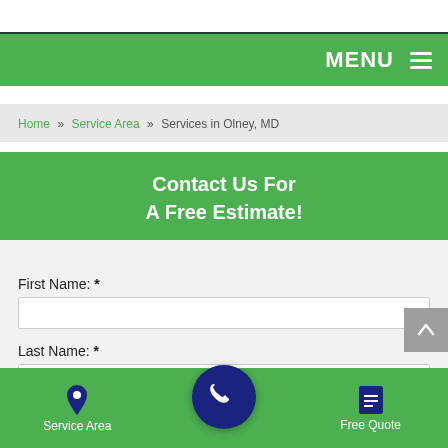MENU ☰
Home » Service Area » Services in Olney, MD
Contact Us For
A Free Estimate!
First Name: *
Last Name: *
Street: *
Service Area | [phone] | Free Quote